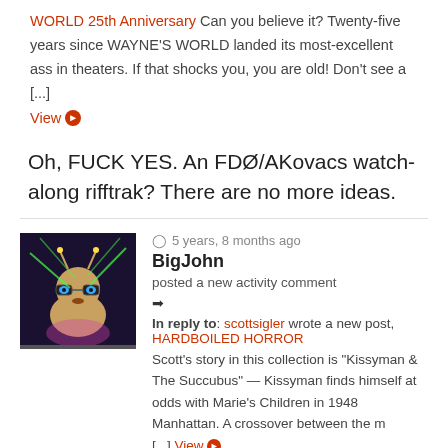WORLD 25th Anniversary Can you believe it? Twenty-five years since WAYNE'S WORLD landed its most-excellent ass in theaters. If that shocks you, you are old! Don't see a [...]
View ➔
Oh, FUCK YES. An FDØ/AKovacs watch-along rifftrak? There are no more ideas.
5 years, 8 months ago
BigJohn
posted a new activity comment
In reply to: scottsigler wrote a new post, HARDBOILED HORROR Scott's story in this collection is "Kissyman & The Succubus" — Kissyman finds himself at odds with Marie's Children in 1948 Manhattan. A crossover between the m [...] View ➔